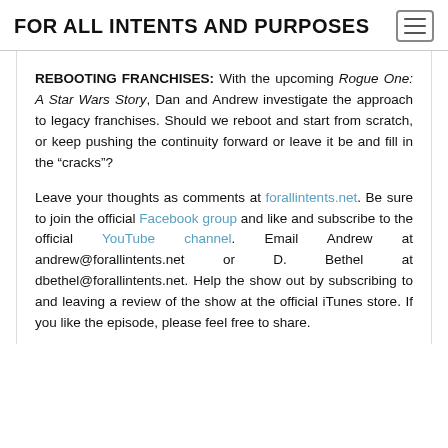FOR ALL INTENTS AND PURPOSES
REBOOTING FRANCHISES: With the upcoming Rogue One: A Star Wars Story, Dan and Andrew investigate the approach to legacy franchises. Should we reboot and start from scratch, or keep pushing the continuity forward or leave it be and fill in the “cracks”?
Leave your thoughts as comments at forallintents.net. Be sure to join the official Facebook group and like and subscribe to the official YouTube channel. Email Andrew at andrew@forallintents.net or D. Bethel at dbethel@forallintents.net. Help the show out by subscribing to and leaving a review of the show at the official iTunes store. If you like the episode, please feel free to share.